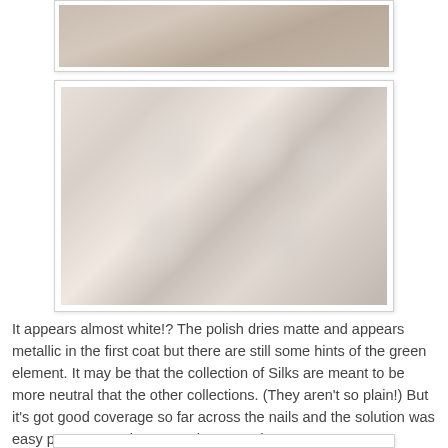[Figure (photo): Top portion of a photo showing fingers/hand with nails, partially cropped]
[Figure (photo): Close-up photo of a hand with fingers curled showing nails painted in a sheer, almost white, matte metallic nail polish with slight green hints]
It appears almost white!? The polish dries matte and appears metallic in the first coat but there are still some hints of the green element. It may be that the collection of Silks are meant to be more neutral that the other collections. (They aren't so plain!) But it's got good coverage so far across the nails and the solution was easy peasy to apply. Here's the second coat...